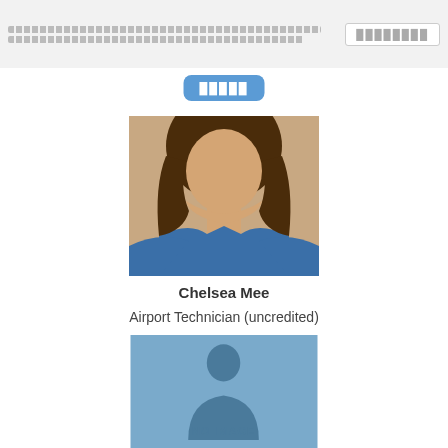██████████████████████████████████████████████████████████████   ████████
█████
[Figure (photo): Portrait photo of a young woman with long brown hair wearing a blue top, cropped from shoulders up]
Chelsea Mee
Airport Technician (uncredited)
[Figure (photo): Placeholder image with blue background showing a generic person silhouette icon and the text NO IMAGE]